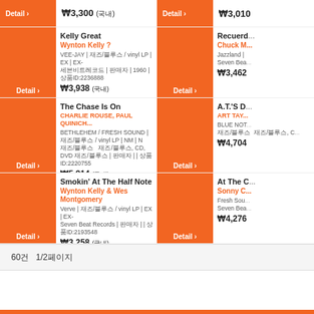₩3,300 (국내) | Detail
₩3,010 | Detail
Kelly Great
Wynton Kelly ?
VEE-JAY | 재즈/블루스 / vinyl LP | EX | EX- 세븐비트레코드 | 판매자 | 1960 | 상품ID:2236888
₩3,938 (국내)
Recuerd...
Chuck M...
Jazzland | Seven Bea...
₩3,462
The Chase Is On
CHARLIE ROUSE, PAUL QUINICH...
BETHLEHEM / FRESH SOUND | 재즈/블루스 / vinyl LP | NM | N 재즈/블루스 재즈/블루스, CD, DVD 재즈/블루스 | 판매자 | | 상품ID:2220755
₩5,914 (국내)
A.T.'S D...
ART TAY...
BLUE NOT... 재즈/블루스 재즈/블루스, C...
₩4,704
Smokin' At The Half Note
Wynton Kelly & Wes Montgomery
Verve | 재즈/블루스 / vinyl LP | EX | EX- Seven Beat Records | 판매자 | | 상품ID:2193548
₩3,258 (국내)
At The C...
Sonny C...
Fresh Sou... Seven Bea...
₩4,276
60건  1/2페이지